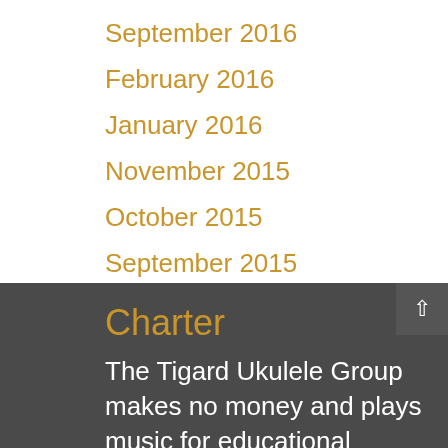September 2016
February 2016
January 2016
November 2015
October 2015
September 2015
Charter
The Tigard Ukulele Group makes no money and plays music for educational purposes only.